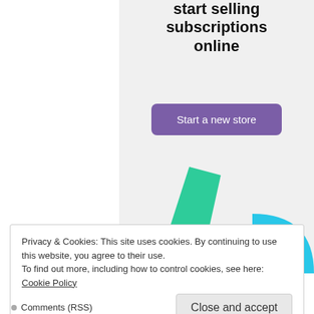start selling subscriptions online
Start a new store
[Figure (illustration): Decorative abstract shapes: a green diagonal quadrilateral and a cyan/blue quarter-circle shape on a light gray background]
Privacy & Cookies: This site uses cookies. By continuing to use this website, you agree to their use.
To find out more, including how to control cookies, see here: Cookie Policy
Close and accept
Comments (RSS)